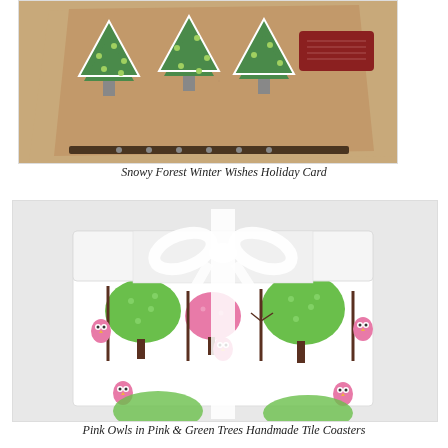[Figure (photo): A handmade holiday card with green polka-dot Christmas tree cutouts on a kraft brown cardboard background, with a red tag and a dark ribbon.]
Snowy Forest Winter Wishes Holiday Card
[Figure (photo): A set of handmade tile coasters with a pattern of pink and green trees and pink owls, packaged in a white box tied with a sheer white ribbon bow.]
Pink Owls in Pink & Green Trees Handmade Tile Coasters